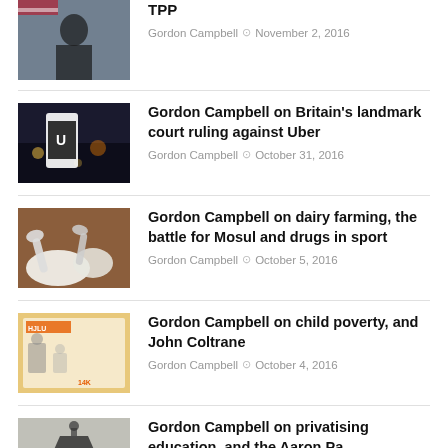[Figure (photo): Person in front of US flag – article about TPP]
TPP
Gordon Campbell ⊙ November 2, 2016
[Figure (photo): Uber app on phone near traffic – article about Uber court ruling]
Gordon Campbell on Britain's landmark court ruling against Uber
Gordon Campbell ⊙ October 31, 2016
[Figure (photo): White powder/dairy products – article about dairy farming, Mosul, drugs in sport]
Gordon Campbell on dairy farming, the battle for Mosul and drugs in sport
Gordon Campbell ⊙ October 5, 2016
[Figure (photo): Magazine/illustration cover – article about child poverty and John Coltrane]
Gordon Campbell on child poverty, and John Coltrane
Gordon Campbell ⊙ October 4, 2016
[Figure (photo): Dark image – article about privatising education]
Gordon Campbell on privatising education, and the Aaron Paterson...